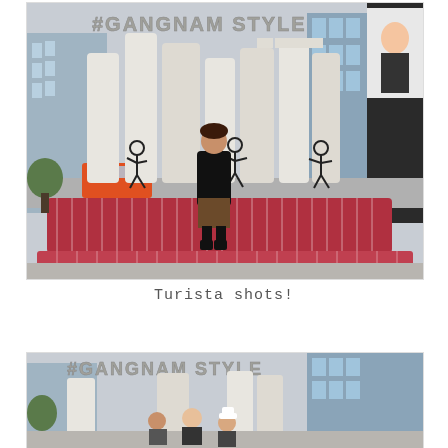[Figure (photo): Person standing in front of the Gangnam Style monument/sculpture in Seoul, South Korea. Large white letters spelling 'GANGNAM STYLE' are visible behind a woman in a black coat. The platform has red brick steps with white line patterns. Dancing PSY silhouettes are drawn on the white letter sculptures. City buildings and a digital billboard are visible in the background.]
Turista shots!
[Figure (photo): Second photo at the same Gangnam Style monument location, showing multiple people posing in front of the large white letter sculptures spelling 'GANGNAM STYLE'. City buildings visible in background.]